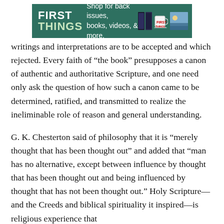[Figure (other): First Things advertisement banner: green background with 'FIRST THINGS' logo text, 'Shop for back issues, books, videos, & more.' tagline, and images of books, mug, and a photo on the right.]
writings and interpretations are to be accepted and which rejected. Every faith of “the book” presupposes a canon of authentic and authoritative Scripture, and one need only ask the question of how such a canon came to be determined, ratified, and transmitted to realize the ineliminable role of reason and general understanding.
G. K. Chesterton said of philosophy that it is “merely thought that has been thought out” and added that “man has no alternative, except between influence by thought that has been thought out and being influenced by thought that has not been thought out.” Holy Scripture—and the Creeds and biblical spirituality it inspired—is religious experience that